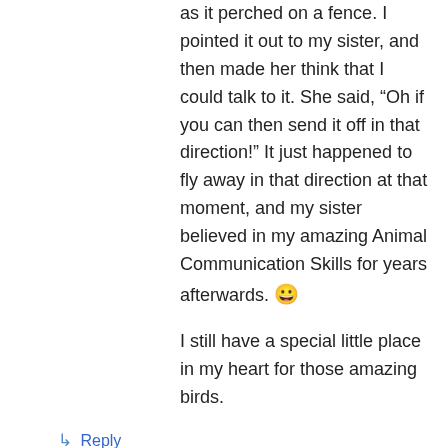as it perched on a fence. I pointed it out to my sister, and then made her think that I could talk to it. She said, “Oh if you can then send it off in that direction!” It just happened to fly away in that direction at that moment, and my sister believed in my amazing Animal Communication Skills for years afterwards. 😀
I still have a special little place in my heart for those amazing birds.
↳ Reply
Julianne Victoria on December 1, 2013 at 11:08 AM
Beautiful experience!